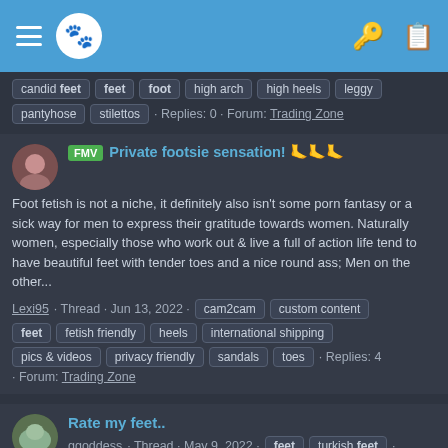Navigation bar with hamburger menu, logo, key icon, clipboard icon
candid feet  feet  foot  high arch  high heels  leggy
pantyhose  stilettos · Replies: 0 · Forum: Trading Zone
FMV Private footsie sensation! 🦶🦶🦶
Foot fetish is not a niche, it definitely also isn't some porn fantasy or a sick way for men to express their gratitude towards women. Naturally women, especially those who work out & live a full of action life tend to have beautiful feet with tender toes and a nice round ass; Men on the other...
Lexi95 · Thread · Jun 13, 2022 · cam2cam  custom content  feet  fetish friendly  heels  international shipping  pics & videos  privacy friendly  sandals  toes · Replies: 4 · Forum: Trading Zone
Rate my feet..
ggoddess · Thread · May 9, 2022 · feet  turkish feet · Replies: 7 · Forum: Free Zone